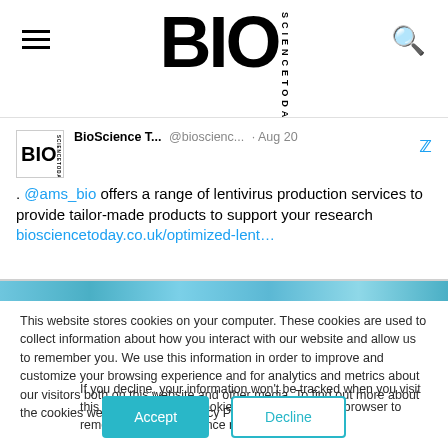BioScienceToday — site header with navigation and logo
[Figure (screenshot): Tweet from BioScience T... (@bioscienc...) dated Aug 20 with Twitter bird icon. Text: . @ams_bio offers a range of lentivirus production services to provide tailor-made products to support your research biosciencetoday.co.uk/optimized-lent…]
This website stores cookies on your computer. These cookies are used to collect information about how you interact with our website and allow us to remember you. We use this information in order to improve and customize your browsing experience and for analytics and metrics about our visitors both on this website and other media. To find out more about the cookies we use, see our Privacy Policy.
If you decline, your information won't be tracked when you visit this website. A single cookie will be used in your browser to remember your preference not to be tracked.